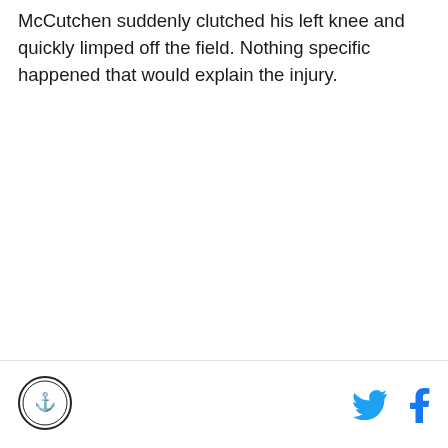McCutchen suddenly clutched his left knee and quickly limped off the field. Nothing specific happened that would explain the injury.
[site logo] [Twitter icon] [Facebook icon]